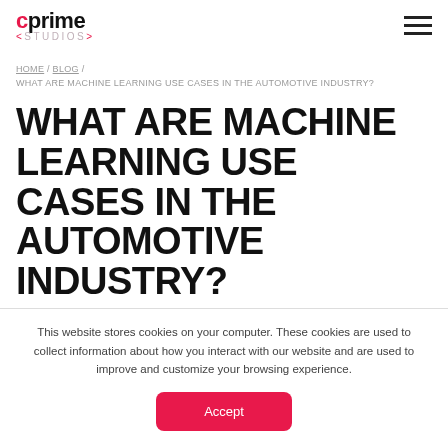[Figure (logo): Cprime Studios logo with pink 'c' and hamburger menu icon on the right]
HOME / BLOG / WHAT ARE MACHINE LEARNING USE CASES IN THE AUTOMOTIVE INDUSTRY?
WHAT ARE MACHINE LEARNING USE CASES IN THE AUTOMOTIVE INDUSTRY?
This website stores cookies on your computer. These cookies are used to collect information about how you interact with our website and are used to improve and customize your browsing experience.
Accept